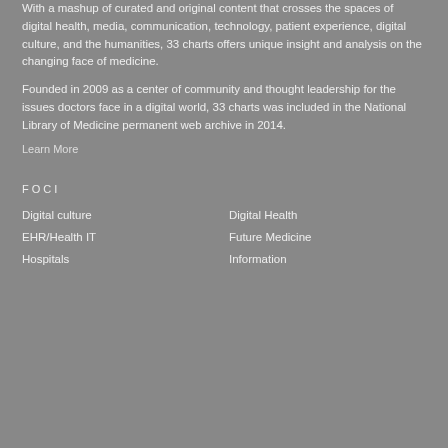With a mashup of curated and original content that crosses the spaces of digital health, media, communication, technology, patient experience, digital culture, and the humanities, 33 charts offers unique insight and analysis on the changing face of medicine.
Founded in 2009 as a center of community and thought leadership for the issues doctors face in a digital world, 33 charts was included in the National Library of Medicine permanent web archive in 2014.
Learn More
FOCI
Digital culture
Digital Health
EHR/Health IT
Future Medicine
Hospitals
Information